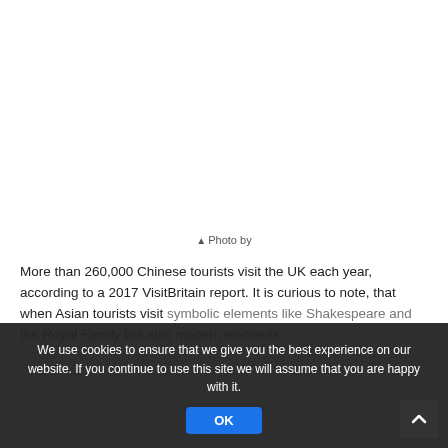[Figure (photo): White/blank photo area at top of page]
▲Photo by
More than 260,000 Chinese tourists visit the UK each year, according to a 2017 VisitBritain report. It is curious to note, that when Asian tourists visit symbolic elements like Shakespeare and the Royal Family but also modern elements.
We use cookies to ensure that we give you the best experience on our website. If you continue to use this site we will assume that you are happy with it.